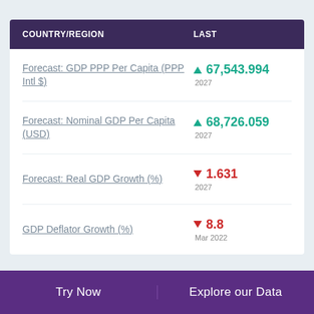| COUNTRY/REGION | LAST |
| --- | --- |
| Forecast: GDP PPP Per Capita (PPP Intl $) | ▲ 67,543.994
2027 |
| Forecast: Nominal GDP Per Capita (USD) | ▲ 68,726.059
2027 |
| Forecast: Real GDP Growth (%) | ▼ 1.631
2027 |
| GDP Deflator Growth (%) | ▼ 8.8
Mar 2022 |
Try Now    Explore our Data